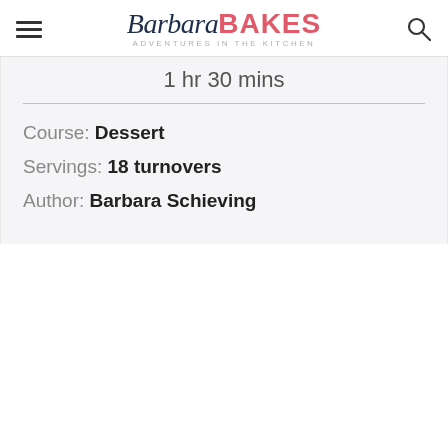Barbara BAKES — ADVENTURES in the KITCHEN
1 hr 30 mins
Course: Dessert
Servings: 18 turnovers
Author: Barbara Schieving